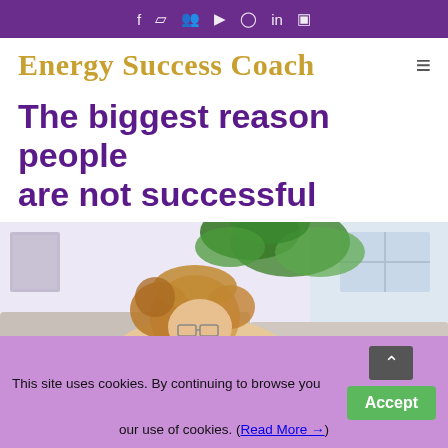Social media icons bar (Facebook, Facebook group, community, YouTube, Instagram, LinkedIn, other)
Energy Success Coach
The biggest reason people are not successful
[Figure (photo): Woman with curly hair and glasses looking down at a laptop, seated on a sofa with a large green plant and window in background]
This site uses cookies. By continuing to browse you our use of cookies. (Read More →)